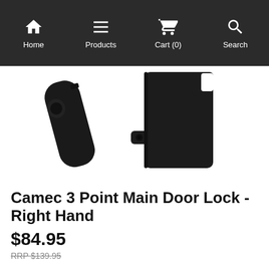Home | Products | Cart (0) | Search
[Figure (photo): Black plastic Camec 3 point main door lock components - right hand side, shown from above on white background]
Camec 3 Point Main Door Lock - Right Hand
$84.95
RRP $139.95